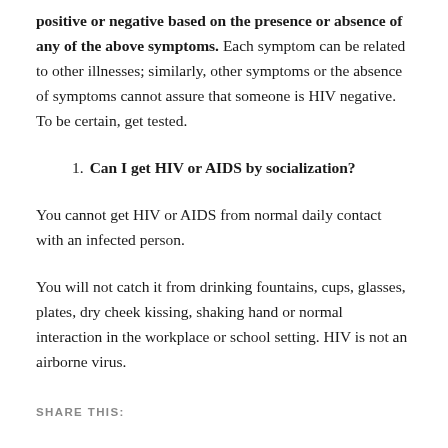positive or negative based on the presence or absence of any of the above symptoms. Each symptom can be related to other illnesses; similarly, other symptoms or the absence of symptoms cannot assure that someone is HIV negative. To be certain, get tested.
1. Can I get HIV or AIDS by socialization?
You cannot get HIV or AIDS from normal daily contact with an infected person.
You will not catch it from drinking fountains, cups, glasses, plates, dry cheek kissing, shaking hand or normal interaction in the workplace or school setting. HIV is not an airborne virus.
SHARE THIS: